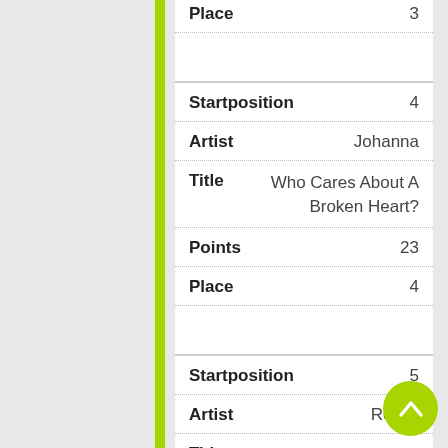Place   3
Startposition   4
Artist   Johanna
Title   Who Cares About A Broken Heart?
Points   23
Place   4
Startposition   5
Artist   Ressu
Title   Say You Will, Say You